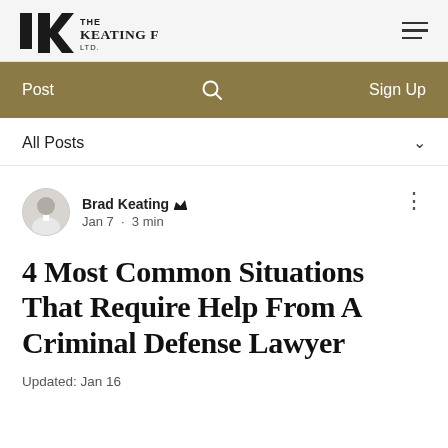The Keating Firm Ltd.
Post  Sign Up
All Posts
Brad Keating  Jan 7 · 3 min
4 Most Common Situations That Require Help From A Criminal Defense Lawyer
Updated: Jan 16